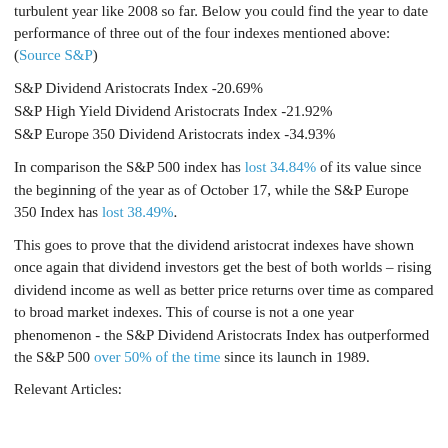turbulent year like 2008 so far. Below you could find the year to date performance of three out of the four indexes mentioned above: (Source S&P)
S&P Dividend Aristocrats Index -20.69%
S&P High Yield Dividend Aristocrats Index -21.92%
S&P Europe 350 Dividend Aristocrats index -34.93%
In comparison the S&P 500 index has lost 34.84% of its value since the beginning of the year as of October 17, while the S&P Europe 350 Index has lost 38.49%.
This goes to prove that the dividend aristocrat indexes have shown once again that dividend investors get the best of both worlds – rising dividend income as well as better price returns over time as compared to broad market indexes. This of course is not a one year phenomenon - the S&P Dividend Aristocrats Index has outperformed the S&P 500 over 50% of the time since its launch in 1989.
Relevant Articles: